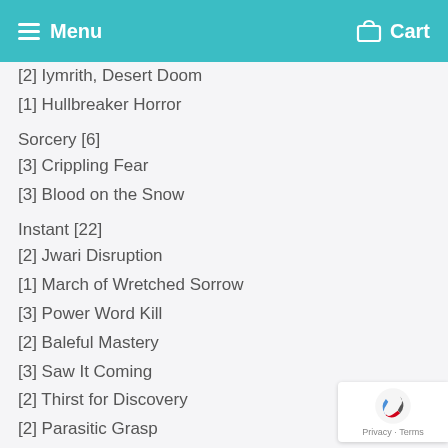Menu  Cart
[2] Iymrith, Desert Doom
[1] Hullbreaker Horror
Sorcery [6]
[3] Crippling Fear
[3] Blood on the Snow
Instant [22]
[2] Jwari Disruption
[1] March of Wretched Sorrow
[3] Power Word Kill
[2] Baleful Mastery
[3] Saw It Coming
[2] Thirst for Discovery
[2] Parasitic Grasp
[2] Hero's Downfall
[4] Memory Deluge
[1] Infernal Grasp